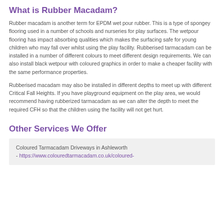What is Rubber Macadam?
Rubber macadam is another term for EPDM wet pour rubber. This is a type of spongey flooring used in a number of schools and nurseries for play surfaces. The wetpour flooring has impact absorbing qualities which makes the surfacing safe for young children who may fall over whilst using the play facility. Rubberised tarmacadam can be installed in a number of different colours to meet different design requirements. We can also install black wetpour with coloured graphics in order to make a cheaper facility with the same performance properties.
Rubberised macadam may also be installed in different depths to meet up with different Critical Fall Heights. If you have playground equipment on the play area, we would recommend having rubberized tarmacadam as we can alter the depth to meet the required CFH so that the children using the facility will not get hurt.
Other Services We Offer
Coloured Tarmacadam Driveways in Ashleworth
 - https://www.colouredtarmacadam.co.uk/coloured-